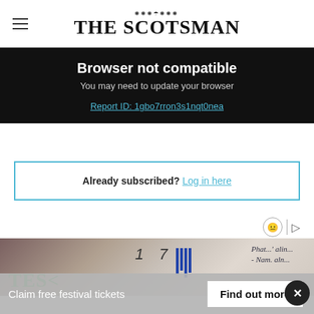THE SCOTSMAN
Browser not compatible
You may need to update your browser
Report ID: 1gbo7rron3s1nqt0nea
Already subscribed? Log in here
[Figure (photo): Partial photograph showing a document or card with green text reading 'TES' and a handwritten signature area with numbers '1 7 1' and blue ink marks]
Claim free festival tickets  Find out more